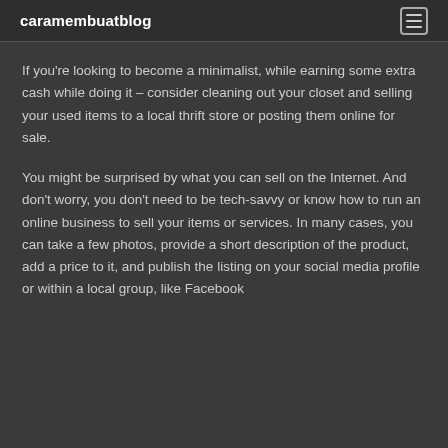caramembuatblog
If you're looking to become a minimalist, while earning some extra cash while doing it – consider cleaning out your closet and selling your used items to a local thrift store or posting them online for sale.
You might be surprised by what you can sell on the Internet. And don't worry, you don't need to be tech-savvy or know how to run an online business to sell your items or services. In many cases, you can take a few photos, provide a short description of the product, add a price to it, and publish the listing on your social media profile or within a local group, like Facebook